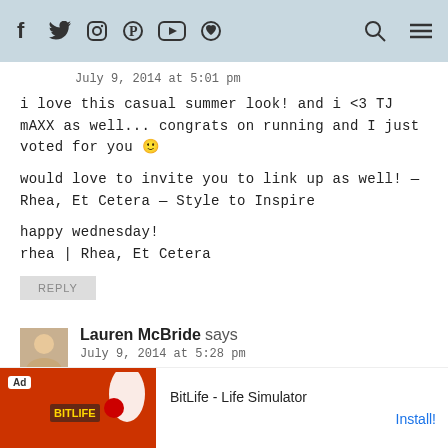Social media icons and navigation header
July 9, 2014 at 5:01 pm
i love this casual summer look! and i <3 TJ mAXX as well... congrats on running and I just voted for you 🙂
would love to invite you to link up as well! — Rhea, Et Cetera — Style to Inspire
happy wednesday!
rhea | Rhea, Et Cetera
REPLY
Lauren McBride says
July 9, 2014 at 5:28 pm
[Figure (screenshot): BitLife - Life Simulator advertisement banner at bottom of page]